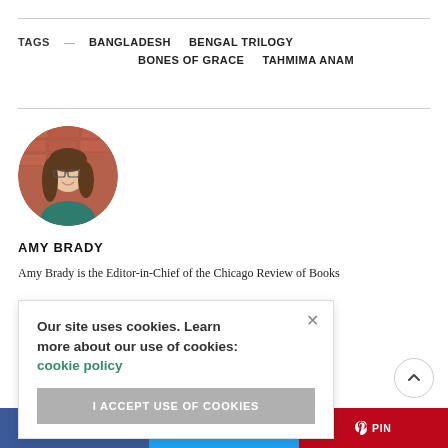TAGS — BANGLADESH  BENGAL TRILOGY  BONES OF GRACE  TAHMIMA ANAM
[Figure (photo): Circular portrait photo of Amy Brady, a woman with glasses and long brown hair, wearing a teal/green top, standing in front of a red brick wall.]
AMY BRADY
Amy Brady is the Editor-in-Chief of the Chicago Review of Books and her writing has appeared in … dard, The New … her on Twitter at
Our site uses cookies. Learn more about our use of cookies: cookie policy
I ACCEPT USE OF COOKIES